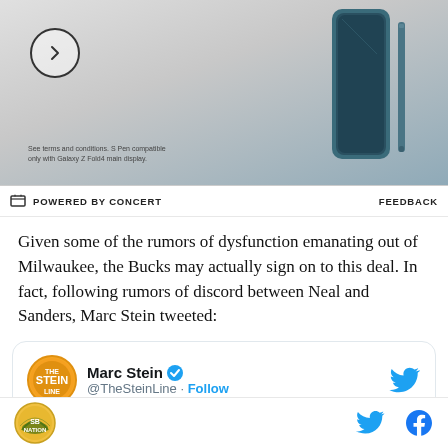[Figure (photo): Advertisement banner with a circle arrow button, fine print about S Pen compatibility, and a Samsung Galaxy Z Fold4 phone product image on a teal/blue-gray background]
POWERED BY CONCERT   FEEDBACK
Given some of the rumors of dysfunction emanating out of Milwaukee, the Bucks may actually sign on to this deal. In fact, following rumors of discord between Neal and Sanders, Marc Stein tweeted:
[Figure (screenshot): Embedded tweet from Marc Stein (@TheSteinLine) with follow button and Twitter bird icon. Tweet text: 'Buzzy item out of Reno: Bucks, I'm told,']
SB Nation logo | Twitter icon | Facebook icon